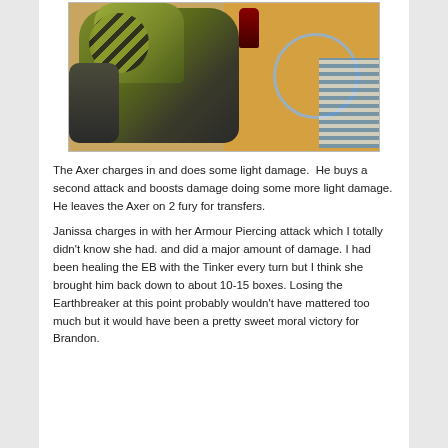[Figure (photo): A painted miniature wargaming figure (large mechanical robot/warjack with yellow-green and black striped armor) on an orange gaming table surface, with measuring tools and a blue grid template visible in the background.]
The Axer charges in and does some light damage.  He buys a second attack and boosts damage doing some more light damage. He leaves the Axer on 2 fury for transfers.
Janissa charges in with her Armour Piercing attack which I totally didn't know she had. and did a major amount of damage. I had been healing the EB with the Tinker every turn but I think she brought him back down to about 10-15 boxes. Losing the Earthbreaker at this point probably wouldn't have mattered too much but it would have been a pretty sweet moral victory for Brandon.